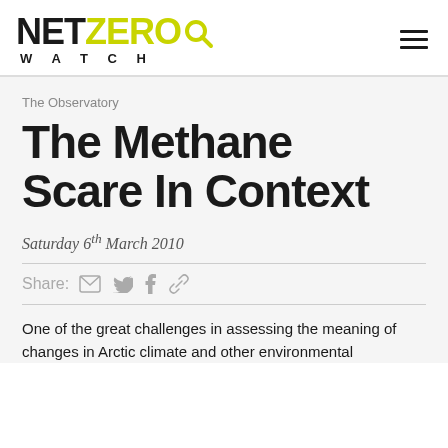NET ZERO WATCH
The Observatory
The Methane Scare In Context
Saturday 6th March 2010
Share:
One of the great challenges in assessing the meaning of changes in Arctic climate and other environmental